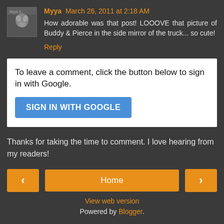Myya March 26, 2011 at 2:18 AM
How adorable was that post! LOOOVE that picture of Buddy & Pierce in the side mirror of the truck... so cute!
Reply
To leave a comment, click the button below to sign in with Google.
SIGN IN WITH GOOGLE
Thanks for taking the time to comment. I love hearing from my readers!
< Home >
View web version
Powered by Blogger.